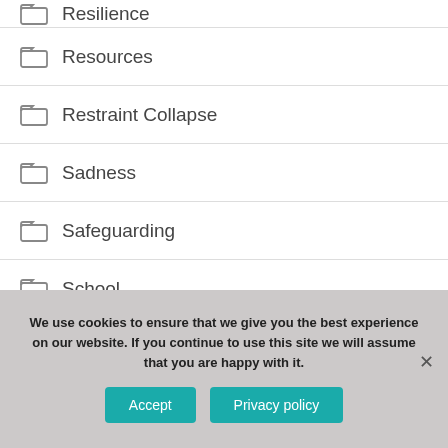Resilience
Resources
Restraint Collapse
Sadness
Safeguarding
School
Self-care
Self-esteem
We use cookies to ensure that we give you the best experience on our website. If you continue to use this site we will assume that you are happy with it.
Accept | Privacy policy